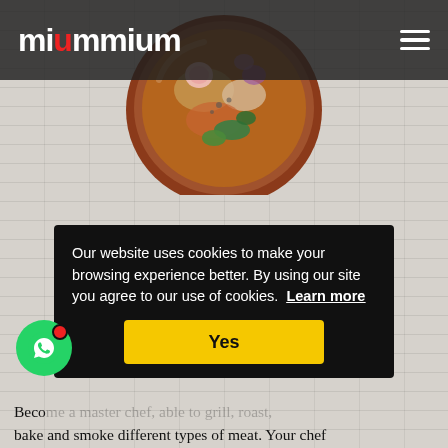miummium
[Figure (photo): Overhead view of a bowl with Asian food ingredients including vegetables and herbs on a white brick background]
Asian Cooking Classes
Learn the basics of Japanese, Chinese, Vietnamese, Indian, Thai, Korean cuisine and more. Your personal chef will teach you some cooking me... fry... and...
Our website uses cookies to make your browsing experience better. By using our site you agree to our use of cookies. Learn more
Yes
Beco... bake and smoke different types of meat. Your chef